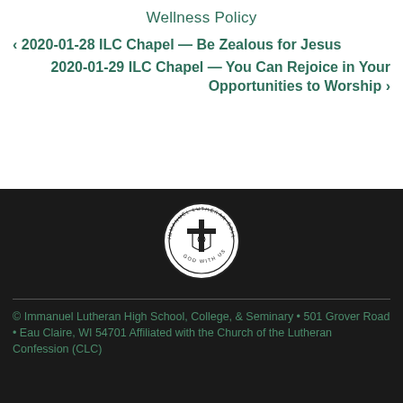Wellness Policy
‹ 2020-01-28 ILC Chapel — Be Zealous for Jesus
2020-01-29 ILC Chapel — You Can Rejoice in Your Opportunities to Worship ›
[Figure (logo): Immanuel Lutheran College circular seal/logo with cross and shield, text reading IMMANUEL LUTHERAN COLLEGE and GOD WITH US]
© Immanuel Lutheran High School, College, & Seminary • 501 Grover Road • Eau Claire, WI 54701 Affiliated with the Church of the Lutheran Confession (CLC)